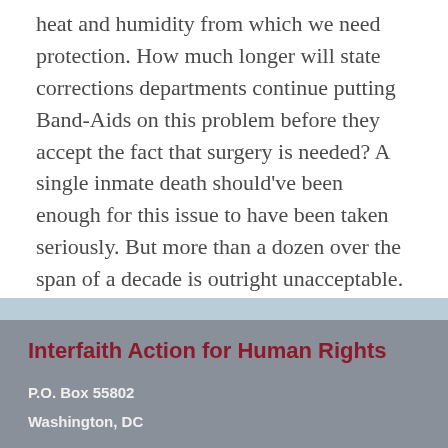heat and humidity from which we need protection. How much longer will state corrections departments continue putting Band-Aids on this problem before they accept the fact that surgery is needed? A single inmate death should've been enough for this issue to have been taken seriously. But more than a dozen over the span of a decade is outright unacceptable.
Interfaith Action for Human Rights
P.O. Box 55802
Washington, DC